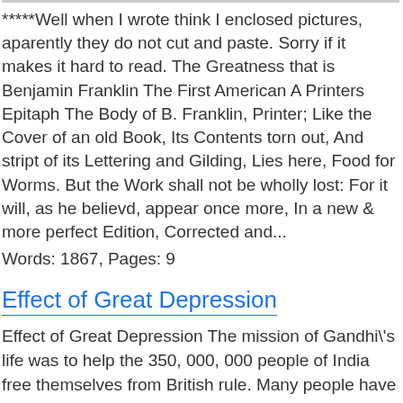*****Well when I wrote think I enclosed pictures, aparently they do not cut and paste. Sorry if it makes it hard to read. The Greatness that is Benjamin Franklin The First American A Printers Epitaph The Body of B. Franklin, Printer; Like the Cover of an old Book, Its Contents torn out, And stript of its Lettering and Gilding, Lies here, Food for Worms. But the Work shall not be wholly lost: For it will, as he believd, appear once more, In a new & more perfect Edition, Corrected and...
Words: 1867, Pages: 9
Effect of Great Depression
Effect of Great Depression The mission of Gandhi\'s life was to help the 350, 000, 000 people of India free themselves from British rule. Many people have struggled for independence. They have turned to terrorism and fought bloody battles. Gandhi\'s revolution was different. He succeeded as an